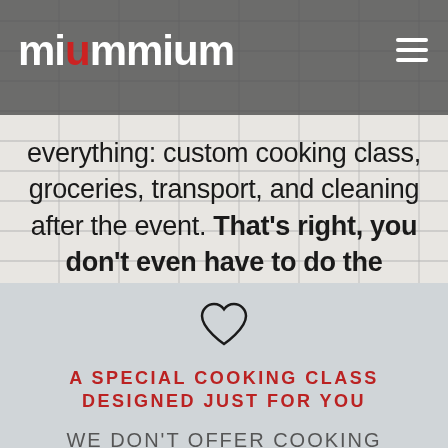miummium
everything: custom cooking class, groceries, transport, and cleaning after the event. That's right, you don't even have to do the dishes!
[Figure (illustration): Heart outline icon]
A SPECIAL COOKING CLASS DESIGNED JUST FOR YOU
WE DON'T OFFER COOKING CLASSES AT A FIXED TIME EVERY